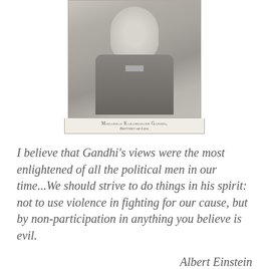[Figure (photo): Historical black-and-white portrait photograph of a young Mohandas Karamchand Gandhi dressed in a suit with a bow tie, with caption below reading 'Mohandas Karamchand Gandhi, Barrister-at-Law.']
Mohandas Karamchand Gandhi, Barrister-at-Law.
I believe that Gandhi's views were the most enlightened of all the political men in our time...We should strive to do things in his spirit: not to use violence in fighting for our cause, but by non-participation in anything you believe is evil.
Albert Einstein
If humanity is to progress, Gandhi is